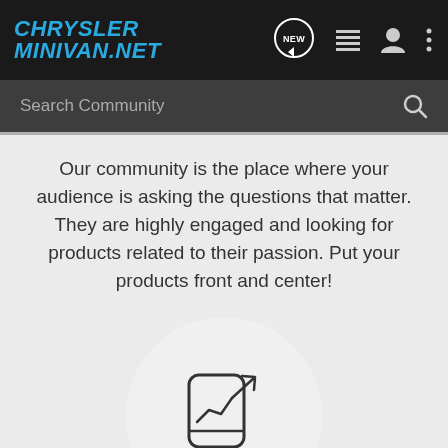[Figure (logo): ChryslerMinivan.net website header with dark navbar containing logo and navigation icons (NEW chat bubble, list, user, more)]
[Figure (screenshot): Dark search bar with 'Search Community' placeholder text and search icon]
Our community is the place where your audience is asking the questions that matter. They are highly engaged and looking for products related to their passion. Put your products front and center!
[Figure (illustration): Circle background with a line icon of a mobile phone/tablet showing an upward trending chart with an arrow, representing growth analytics]